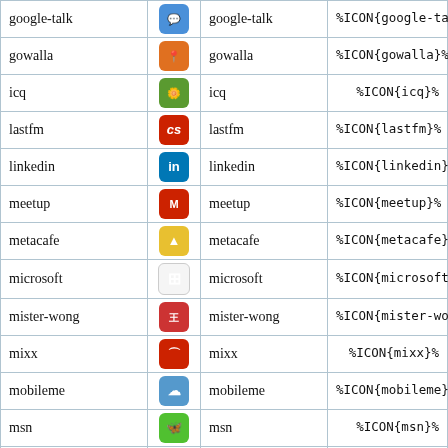| Name | Icon | Slug | Macro |
| --- | --- | --- | --- |
| google-talk | [icon] | google-talk | %ICON{google-talk}% |
| gowalla | [icon] | gowalla | %ICON{gowalla}% |
| icq | [icon] | icq | %ICON{icq}% |
| lastfm | [icon] | lastfm | %ICON{lastfm}% |
| linkedin | [icon] | linkedin | %ICON{linkedin}% |
| meetup | [icon] | meetup | %ICON{meetup}% |
| metacafe | [icon] | metacafe | %ICON{metacafe}% |
| microsoft | [icon] | microsoft | %ICON{microsoft}% |
| mister-wong | [icon] | mister-wong | %ICON{mister-wong}% |
| mixx | [icon] | mixx | %ICON{mixx}% |
| mobileme | [icon] | mobileme | %ICON{mobileme}% |
| msn | [icon] | msn | %ICON{msn}% |
| myspace | [icon] | myspace | %ICON{myspace}% |
| notvibes | [icon] | notvibes | %ICON{notvibes}% |